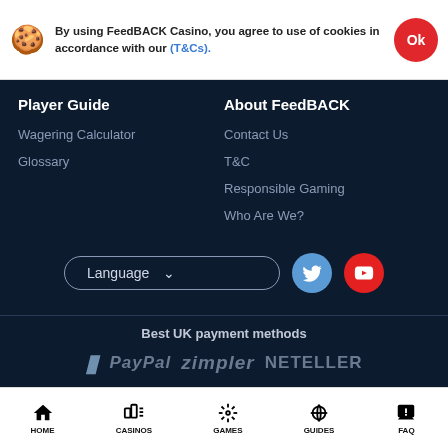By using FeedBACK Casino, you agree to use of cookies in accordance with our (T&Cs).
Player Guide
About FeedBACK
Wagering Calculator
Glossary
Contact Us
T&C
Responsible Gaming
Who Are We?
[Figure (screenshot): Language dropdown selector with chevron, Twitter social button (blue circle), YouTube social button (red circle)]
Best UK payment methods
[Figure (logo): PayPal, Zimpler, NETELLER payment method logos partially visible]
HOME  CASINOS  GAMES  GUIDES  FAQ